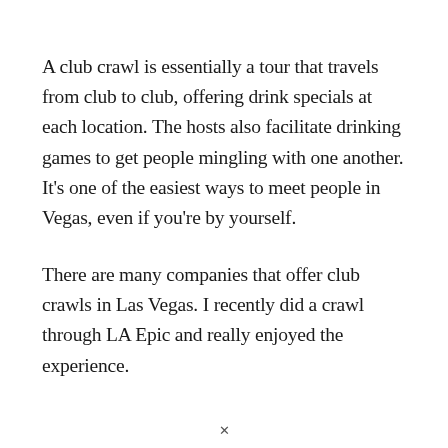A club crawl is essentially a tour that travels from club to club, offering drink specials at each location. The hosts also facilitate drinking games to get people mingling with one another. It's one of the easiest ways to meet people in Vegas, even if you're by yourself.
There are many companies that offer club crawls in Las Vegas. I recently did a crawl through LA Epic and really enjoyed the experience.